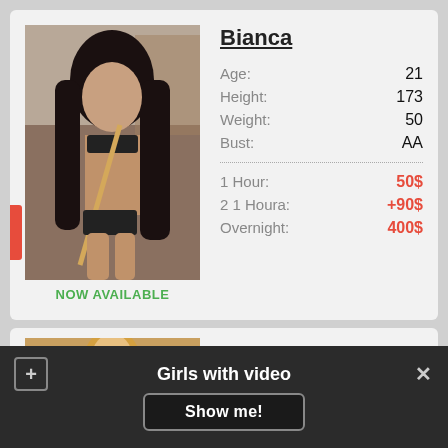[Figure (photo): Photo of Bianca, a young woman with long dark hair holding a billiard cue, wearing black bikini, in a pool room setting]
NOW AVAILABLE
Bianca
| Age: | 21 |
| Height: | 173 |
| Weight: | 50 |
| Bust: | AA |
| 1 Hour: | 50$ |
| 2 1 Houra: | +90$ |
| Overnight: | 400$ |
[Figure (photo): Partial photo of Olivia, a blonde woman]
Olivia
Girls with video
Show me!